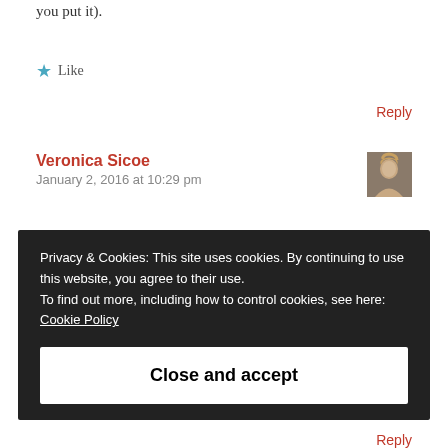you put it).
★ Like
Reply
Veronica Sicoe
January 2, 2016 at 10:29 pm
[Figure (photo): Avatar photo of Veronica Sicoe, a woman with blond hair]
Privacy & Cookies: This site uses cookies. By continuing to use this website, you agree to their use.
To find out more, including how to control cookies, see here:
Cookie Policy
Close and accept
Reply